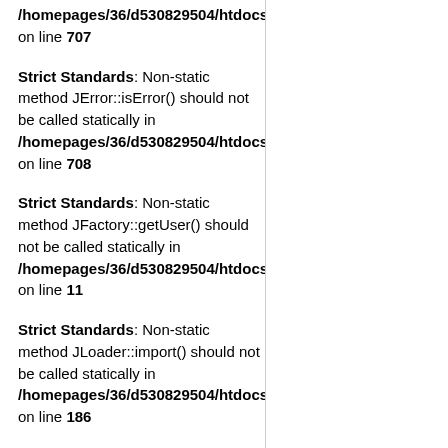/homepages/36/d530829504/htdocs/a on line 707
Strict Standards: Non-static method JError::isError() should not be called statically in /homepages/36/d530829504/htdocs/a on line 708
Strict Standards: Non-static method JFactory::getUser() should not be called statically in /homepages/36/d530829504/htdocs/a on line 11
Strict Standards: Non-static method JLoader::import() should not be called statically in /homepages/36/d530829504/htdocs/a on line 186
Strict Standards: Non-static method JFactory::getSession() should not be called statically in /homepages/36/d530829504/htdocs/a on line 163
Strict Standards: Non-static method JSite::getMenu() should not be